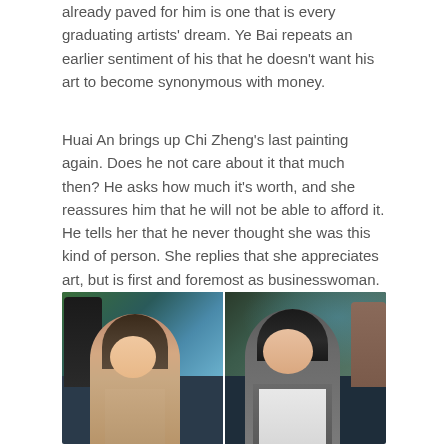already paved for him is one that is every graduating artists' dream. Ye Bai repeats an earlier sentiment of his that he doesn't want his art to become synonymous with money.
Huai An brings up Chi Zheng's last painting again. Does he not care about it that much then? He asks how much it's worth, and she reassures him that he will not be able to afford it. He tells her that he never thought she was this kind of person. She replies that she appreciates art, but is first and foremost as businesswoman. He asks her for three more days to make a decision.
[Figure (photo): Two side-by-side screenshots from a TV drama. Left: a young woman with shoulder-length brown hair and a beige/tan top, partially obscured by another figure in the foreground. Right: a young man with dark hair wearing a gray cardigan over a white shirt, with a blurred background.]